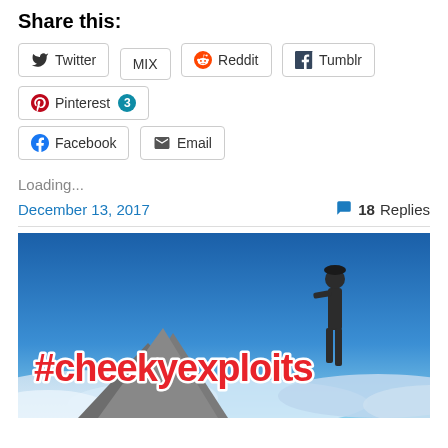Share this:
Twitter | MIX | Reddit | Tumblr | Pinterest 3 | Facebook | Email
Loading...
December 13, 2017   18 Replies
[Figure (photo): Blog post thumbnail image showing a person standing on a mountain peak above clouds, with red and white bold text '#cheekyexploits' overlaid on the image, against a blue sky background.]